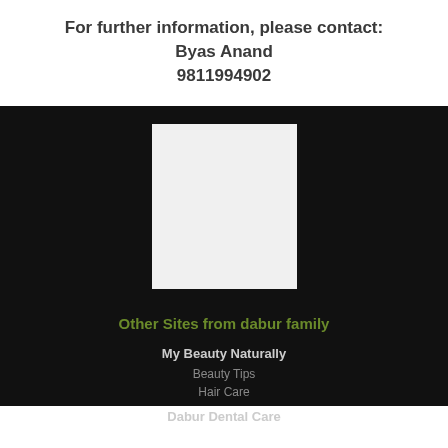For further information, please contact:
Byas Anand
9811994902
[Figure (photo): Light gray rectangular image placeholder on dark background]
Other Sites from dabur family
My Beauty Naturally
Beauty Tips
Hair Care
Dabur Dental Care